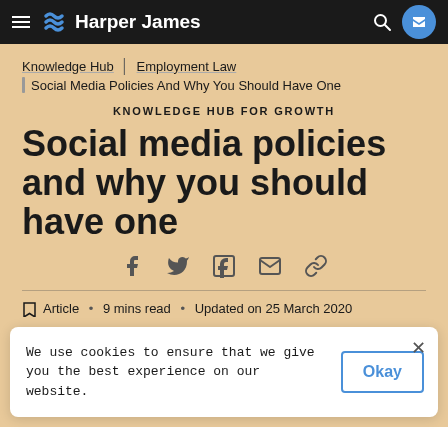Harper James
Knowledge Hub / Employment Law / Social Media Policies And Why You Should Have One
KNOWLEDGE HUB FOR GROWTH
Social media policies and why you should have one
[Figure (infographic): Social sharing icons: Facebook, Twitter, LinkedIn, Email, Link]
Article • 9 mins read • Updated on 25 March 2020
We use cookies to ensure that we give you the best experience on our website.